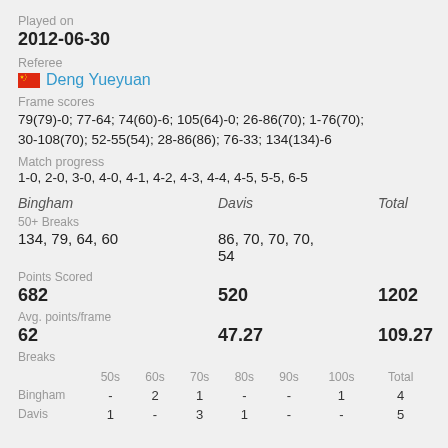Played on
2012-06-30
Referee
Deng Yueyuan
Frame scores
79(79)-0; 77-64; 74(60)-6; 105(64)-0; 26-86(70); 1-76(70); 30-108(70); 52-55(54); 28-86(86); 76-33; 134(134)-6
Match progress
1-0, 2-0, 3-0, 4-0, 4-1, 4-2, 4-3, 4-4, 4-5, 5-5, 6-5
|  | Bingham | Davis | Total |
| --- | --- | --- | --- |
| 50+ Breaks |  |  |  |
|  | 134, 79, 64, 60 | 86, 70, 70, 70, 54 |  |
| Points Scored |  |  |  |
|  | 682 | 520 | 1202 |
| Avg. points/frame |  |  |  |
|  | 62 | 47.27 | 109.27 |
| Breaks |  |  |  |
| 50s | 60s | 70s | 80s | 90s | 100s | Total |
| Bingham | - | 2 | 1 | - | - | 1 | 4 |
| Davis | 1 | - | 3 | 1 | - | - | 5 |